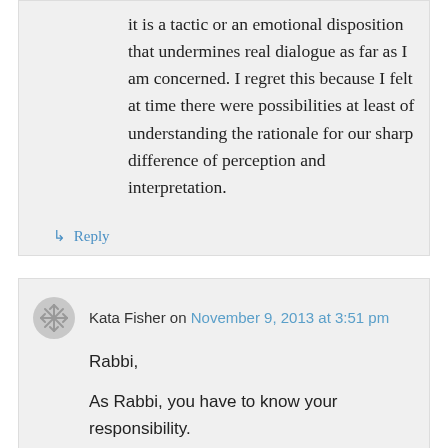it is a tactic or an emotional disposition that undermines real dialogue as far as I am concerned. I regret this because I felt at time there were possibilities at least of understanding the rationale for our sharp difference of perception and interpretation.
↳ Reply
Kata Fisher on November 9, 2013 at 3:51 pm
Rabbi,

As Rabbi, you have to know your responsibility.

I do have a pressuring head-ache today, so